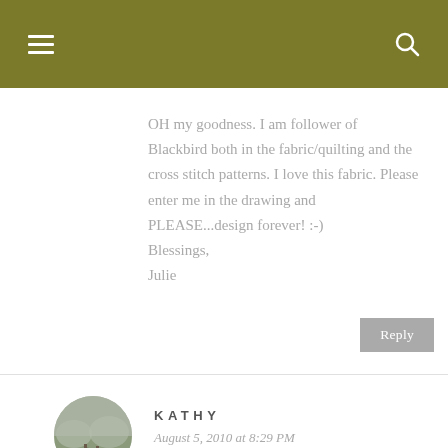OH my goodness. I am follower of Blackbird both in the fabric/quilting and the cross stitch patterns. I love this fabric. Please enter me in the drawing and PLEASE...design forever! :-)
Blessings,
Julie
Reply
KATHY
August 5, 2010 at 8:29 PM